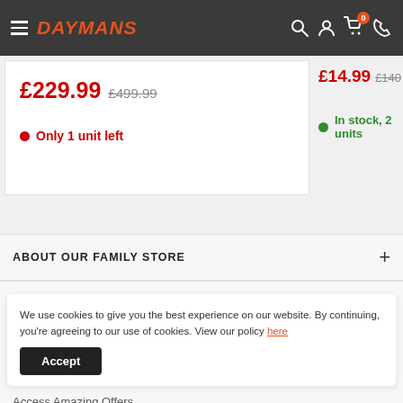DAYMANS
£229.99  £499.99
Only 1 unit left
£14.99  £140
In stock, 2 units
ABOUT OUR FAMILY STORE
We use cookies to give you the best experience on our website. By continuing, you're agreeing to our use of cookies. View our policy here
Accept
Access Amazing Offers